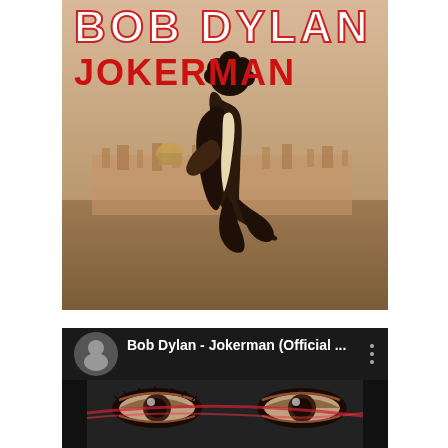[Figure (photo): Bob Dylan 'Jokerman' single album cover. Text at top reads 'BOB DYLAN' in large white letters with red outline, below it 'JOKERMAN' in bold red letters. A man (Bob Dylan) crouches on a rocky hilltop overlooking a cityscape with a domed building visible in the hazy background.]
[Figure (screenshot): YouTube video thumbnail for 'Bob Dylan - Jokerman (Official ...' shown on dark/black background. Small circular profile image of Bob Dylan on the left, video title text in white, and a vertical three-dot menu icon on the right. Below is a video thumbnail showing a close-up of eyes.]